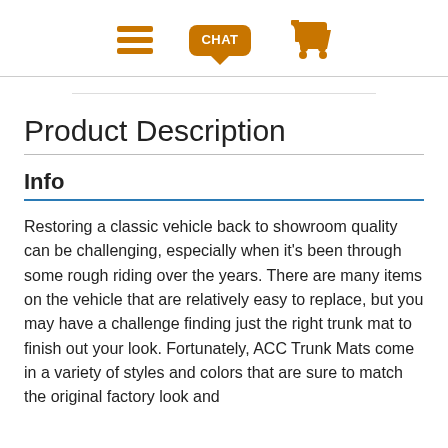[Menu icon] [Chat icon] [Cart icon]
Product Description
Info
Restoring a classic vehicle back to showroom quality can be challenging, especially when it's been through some rough riding over the years. There are many items on the vehicle that are relatively easy to replace, but you may have a challenge finding just the right trunk mat to finish out your look. Fortunately, ACC Trunk Mats come in a variety of styles and colors that are sure to match the original factory look and